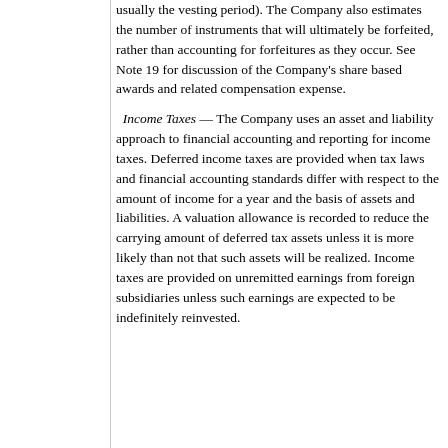usually the vesting period). The Company also estimates the number of instruments that will ultimately be forfeited, rather than accounting for forfeitures as they occur. See Note 19 for discussion of the Company's share based awards and related compensation expense.
Income Taxes — The Company uses an asset and liability approach to financial accounting and reporting for income taxes. Deferred income taxes are provided when tax laws and financial accounting standards differ with respect to the amount of income for a year and the basis of assets and liabilities. A valuation allowance is recorded to reduce the carrying amount of deferred tax assets unless it is more likely than not that such assets will be realized. Income taxes are provided on unremitted earnings from foreign subsidiaries unless such earnings are expected to be indefinitely reinvested.